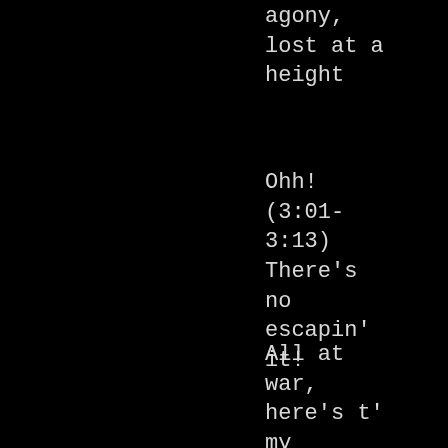agony,
lost at a
height
Ohh!
(3:01-
3:13)
There's
no
escapin'
it!
All at
war,
here's t'
my
sweet
Satan
(3:21-
3:42)
No other
made a
path, for
it makes